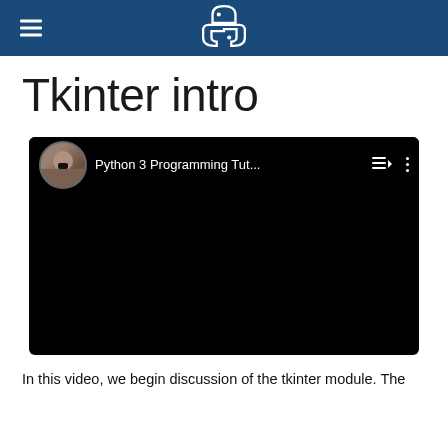Python Programming Tutorial (header with logo)
Tkinter intro
[Figure (screenshot): Embedded YouTube-style video player showing 'Python 3 Programming Tut...' with a channel avatar, playlist icon, and more options icon. Video content area is black.]
In this video, we begin discussion of the tkinter module. The